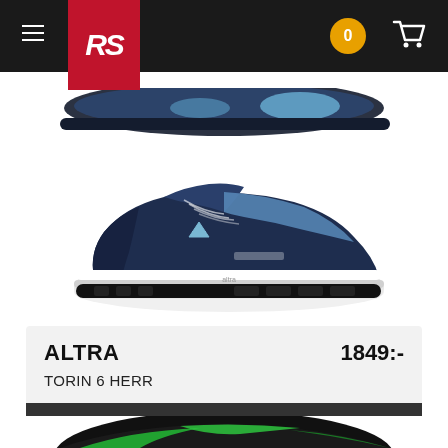[Figure (screenshot): Top portion of a running shoe sole (navy/light blue) visible at the very top of the page]
RS logo navigation bar with hamburger menu, RS logo in red, badge showing 0, and cart icon
[Figure (photo): Side view of Altra Torin 6 Herr running shoe in navy blue and light blue colorway with white sole]
ALTRA
1849:-
TORIN 6 HERR
KÖP
[Figure (photo): Bottom portion of another running shoe (green/black colorway) partially visible at bottom of page]